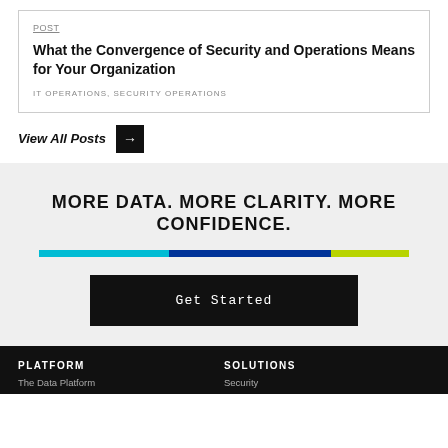POST
What the Convergence of Security and Operations Means for Your Organization
IT OPERATIONS, SECURITY OPERATIONS
View All Posts →
MORE DATA. MORE CLARITY. MORE CONFIDENCE.
[Figure (infographic): Horizontal color bar with three segments: cyan, navy blue, and lime green]
Get Started
PLATFORM
SOLUTIONS
The Data Platform